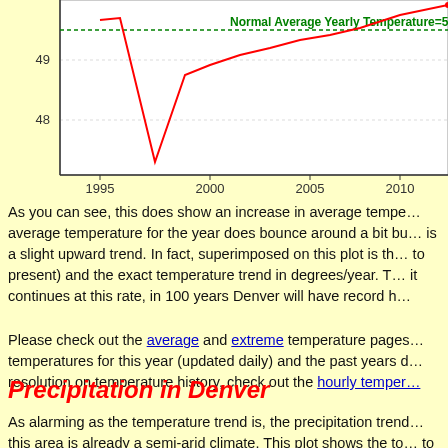[Figure (continuous-plot): Line chart showing average yearly temperature for Denver from 1995 to 2010+. Y-axis shows temperature values 48 and 49. A red line shows temperature trend with a sharp dip around 1996-1997 then rising. A green horizontal dashed line labeled 'Normal Average Yearly Temperature=50' is shown. The chart has a white background with grid lines.]
As you can see, this does show an increase in average tempe... average temperature for the year does bounce around a bit bu... is a slight upward trend. In fact, superimposed on this plot is th... to present) and the exact temperature trend in degrees/year. T... it continues at this rate, in 100 years Denver will have record h...
Please check out the average and extreme temperature pages... temperatures for this year (updated daily) and the past years d... resolution on temperature history, check out the hourly temper...
Precipitation in Denver
As alarming as the temperature trend is, the precipitation trend... this area is already a semi-arid climate. This plot shows the to... to 1995...